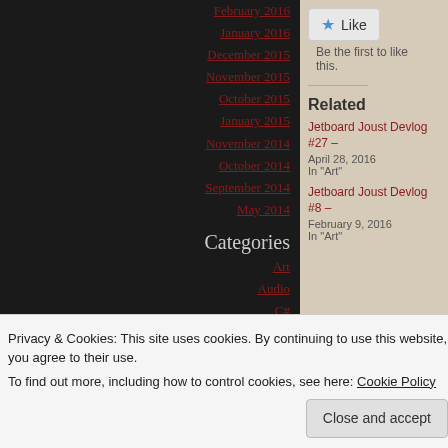February 2016
January 2016
December 2015
November 2015
October 2015
January 2015
November 2014
October 2014
September 2014
May 2014
Categories
Art
Audio
C#
Like
Be the first to like this.
Related
Jetboard Joust Devlog #27 –
April 28, 2016
In "Art"
Jetboard Joust Devlog #8 –
February 9, 2016
In "Art"
Privacy & Cookies: This site uses cookies. By continuing to use this website, you agree to their use.
To find out more, including how to control cookies, see here: Cookie Policy
Close and accept
« Jetboard Joust DevLog #3